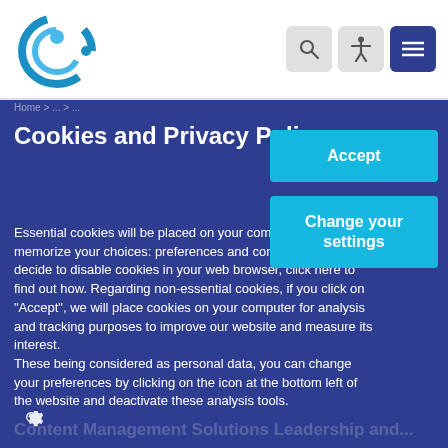[Figure (logo): Circular logo with two concentric arcs and a dot, in blue tones]
Cookies and Privacy Policy
Essential cookies will be placed on your computer to memorize your choices: preferences and consents. You can decide to disable cookies in your web browser, click here to find out how. Regarding non-essential cookies, if you click on "Accept", we will place cookies on your computer for analysis and tracking purposes to improve our website and measure its interest. These being considered as personal data, you can change your preferences by clicking on the icon at the bottom left of the website and deactivate these analysis tools.